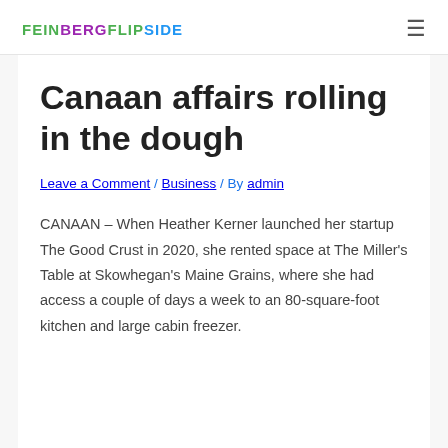FEINBERGFLIPSIDE
Canaan affairs rolling in the dough
Leave a Comment / Business / By admin
CANAAN – When Heather Kerner launched her startup The Good Crust in 2020, she rented space at The Miller's Table at Skowhegan's Maine Grains, where she had access a couple of days a week to an 80-square-foot kitchen and large cabin freezer.